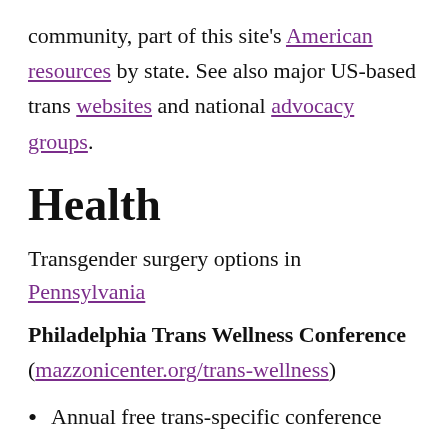community, part of this site's American resources by state. See also major US-based trans websites and national advocacy groups.
Health
Transgender surgery options in Pennsylvania
Philadelphia Trans Wellness Conference (mazzonicenter.org/trans-wellness)
Annual free trans-specific conference